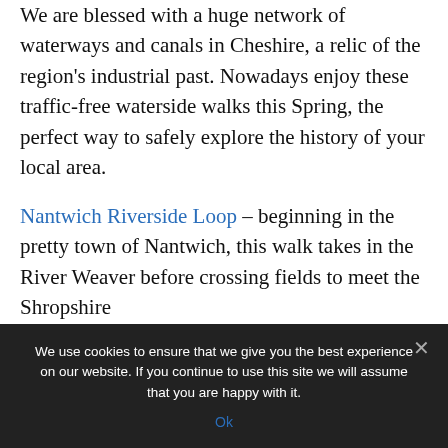We are blessed with a huge network of waterways and canals in Cheshire, a relic of the region's industrial past. Nowadays enjoy these traffic-free waterside walks this Spring, the perfect way to safely explore the history of your local area.
Nantwich Riverside Loop – beginning in the pretty town of Nantwich, this walk takes in the River Weaver before crossing fields to meet the Shropshire
We use cookies to ensure that we give you the best experience on our website. If you continue to use this site we will assume that you are happy with it.
Ok